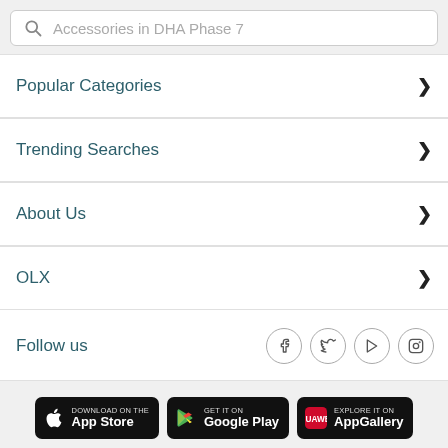Accessories in DHA Phase 7
Popular Categories
Trending Searches
About Us
OLX
Follow us
[Figure (screenshot): App store badges: Download on the App Store, Get it on Google Play, Explore it on AppGallery]
Free Classifieds in Pakistan  © 2006-2022 OLX